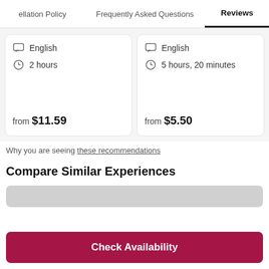ellation Policy   Frequently Asked Questions   Reviews
English
2 hours
from $11.59
English
5 hours, 20 minutes
from $5.50
Why you are seeing these recommendations
Compare Similar Experiences
Check Availability